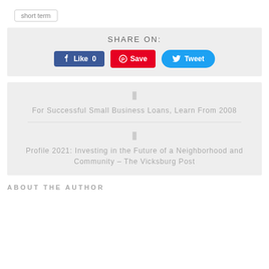short term
SHARE ON:
[Figure (infographic): Social share buttons: Facebook Like 0, Pinterest Save, Twitter Tweet]
For Successful Small Business Loans, Learn From 2008
Profile 2021: Investing in the Future of a Neighborhood and Community – The Vicksburg Post
ABOUT THE AUTHOR